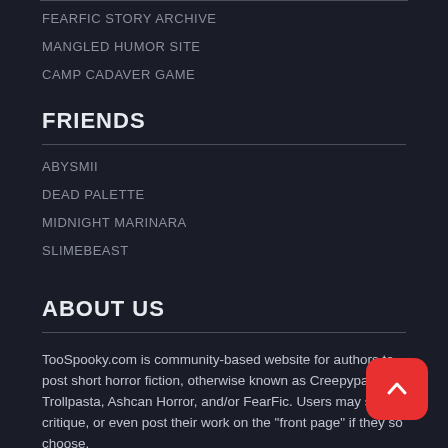FEARFIC STORY ARCHIVE
MANGLED HUMOR SITE
CAMP CADAVER GAME
FRIENDS
ABYSMII
DEAD PALETTE
MIDNIGHT MARINARA
SLIMEBEAST
ABOUT US
TooSpooky.com is community-based website for authors to post short horror fiction, otherwise known as Creepypasta, Trollpasta, Ashcan Horror, and/or FearFic. Users may seek critique, or even post their work on the "front page" if they so choose.